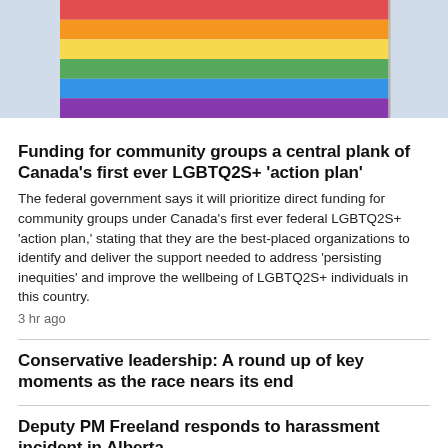[Figure (photo): Rainbow/pride flag waving, with flag pole visible on right side, sky background]
Funding for community groups a central plank of Canada's first ever LGBTQ2S+ 'action plan'
The federal government says it will prioritize direct funding for community groups under Canada's first ever federal LGBTQ2S+ 'action plan,' stating that they are the best-placed organizations to identify and deliver the support needed to address 'persisting inequities' and improve the wellbeing of LGBTQ2S+ individuals in this country.
3 hr ago
Conservative leadership: A round up of key moments as the race nears its end
Deputy PM Freeland responds to harassment incident in Alberta